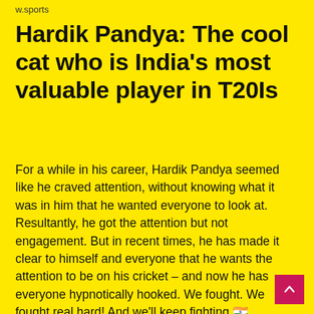w.sports
Hardik Pandya: The cool cat who is India's most valuable player in T20Is
For a while in his career, Hardik Pandya seemed like he craved attention, without knowing what it was in him that he wanted everyone to look at. Resultantly, he got the attention but not engagement. But in recent times, he has made it clear to himself and everyone that he wants the attention to be on his cricket – and now he has everyone hypnotically hooked. We fought. We fought real hard! And we'll keep fighting 🇮🇳 pic.twitter.com/7esrZxg74l — hardik pandya (@hardikpandya7) August 28, 2022 "Hardik Pandya is the world's best allrounder at the